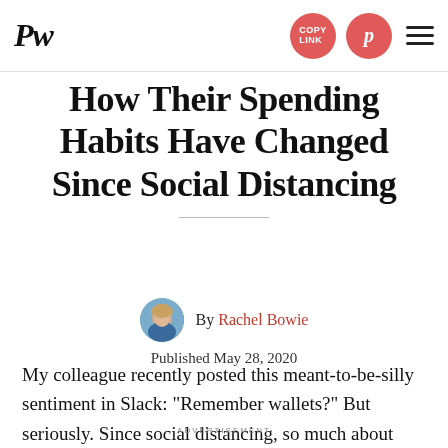PW | COPY LINK | Pinterest | Menu
How Their Spending Habits Have Changed Since Social Distancing
By Rachel Bowie
Published May 28, 2020
My colleague recently posted this meant-to-be-silly sentiment in Slack: “Remember wallets?” But seriously. Since social distancing, so much about how we approach our finances has changed. In some cases, that may mean spending less. In others, that may mean spending more. We decided to check in with a handful of real women, and one man